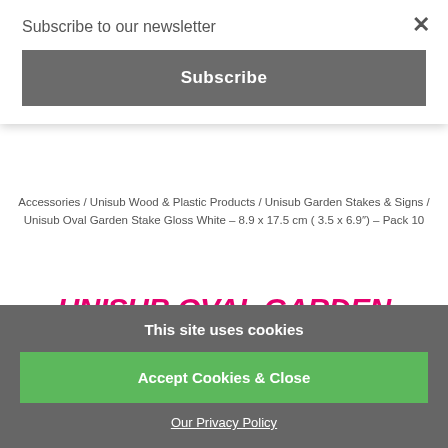Subscribe to our newsletter
Subscribe
Accessories / Unisub Wood & Plastic Products / Unisub Garden Stakes & Signs / Unisub Oval Garden Stake Gloss White – 8.9 x 17.5 cm ( 3.5 x 6.9″) – Pack 10
UNISUB OVAL GARDEN STAKE GLOSS WHITE – 8.9 X 17.5 CM ( 3.5 X 6.9″ ) – PACK 10
This site uses cookies
Accept Cookies & Close
Our Privacy Policy